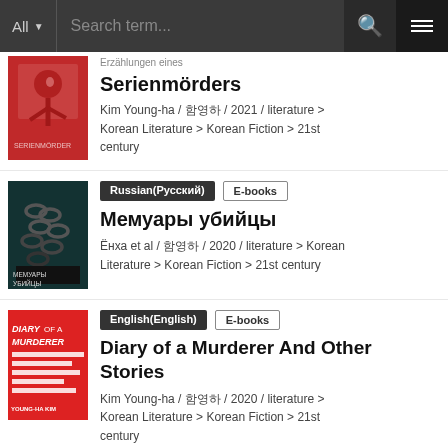All | Search term...
Serienmörders
Kim Young-ha / 김영하 / 2021 / literature > Korean Literature > Korean Fiction > 21st century
Russian(Русский) | E-books
Мемуары убийцы
Ёнха et al / 김영하 / 2020 / literature > Korean Literature > Korean Fiction > 21st century
English(English) | E-books
Diary of a Murderer And Other Stories
Kim Young-ha / 김영하 / 2020 / literature > Korean Literature > Korean Fiction > 21st century